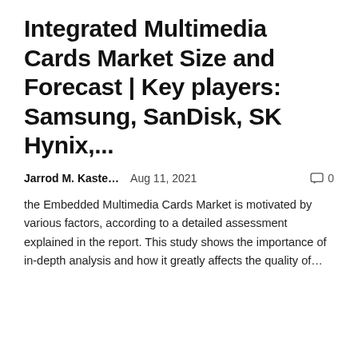Integrated Multimedia Cards Market Size and Forecast | Key players: Samsung, SanDisk, SK Hynix,...
Jarrod M. Kaste...    Aug 11, 2021    💬 0
the Embedded Multimedia Cards Market is motivated by various factors, according to a detailed assessment explained in the report. This study shows the importance of in-depth analysis and how it greatly affects the quality of...